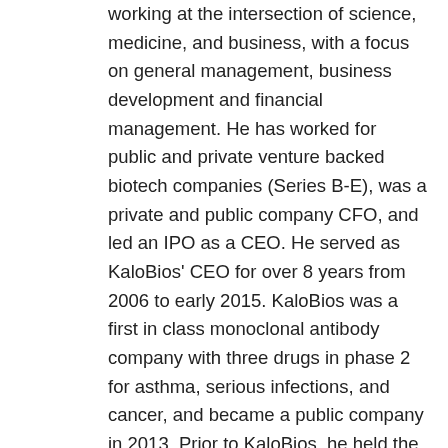working at the intersection of science, medicine, and business, with a focus on general management, business development and financial management. He has worked for public and private venture backed biotech companies (Series B-E), was a private and public company CFO, and led an IPO as a CEO. He served as KaloBios' CEO for over 8 years from 2006 to early 2015. KaloBios was a first in class monoclonal antibody company with three drugs in phase 2 for asthma, serious infections, and cancer, and became a public company in 2013. Prior to KaloBios, he held the position of chief business officer at Rinat Neuroscience Corporation, where he managed the negotiations on the acquisition of the Rinat by Pfizer in 2006 for $500 million. Rinat developed antibodies that become Ajovy (fremanezumab) for migraine prevention, and tanezumab for arthritis pain. Prior to that he was chief financial officer at Matrix Pharmaceuticals and managed the sale of the